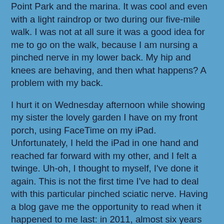Point Park and the marina. It was cool and even with a light raindrop or two during our five-mile walk. I was not at all sure it was a good idea for me to go on the walk, because I am nursing a pinched nerve in my lower back. My hip and knees are behaving, and then what happens? A problem with my back.
I hurt it on Wednesday afternoon while showing my sister the lovely garden I have on my front porch, using FaceTime on my iPad. Unfortunately, I held the iPad in one hand and reached far forward with my other, and I felt a twinge. Uh-oh, I thought to myself, I've done it again. This is not the first time I've had to deal with this particular pinched sciatic nerve. Having a blog gave me the opportunity to read when it happened to me last: in 2011, almost six years ago. The pain that radiated from my lower back instantly reminded me of the last time, and I knew that it would take a few days to get better.
But it was Wednesday afternoon when it happened, and I wasn't at all sure it was a good idea to go hiking on Thursday. I had my ibuprofen and my trekking poles and